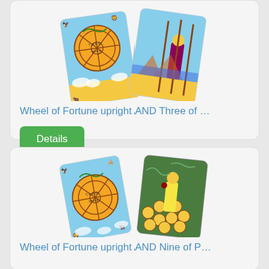[Figure (illustration): Two tarot cards side by side: Wheel of Fortune card and Three of Wands card, partially overlapping]
Wheel of Fortune upright AND Three of …
Details
[Figure (illustration): Two tarot cards side by side: Wheel of Fortune card and Nine of Pentacles card, partially overlapping]
Wheel of Fortune upright AND Nine of P…